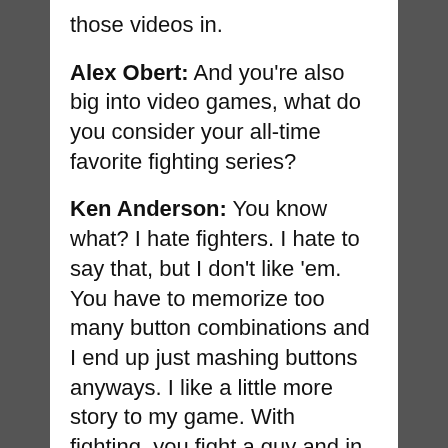those videos in.
Alex Obert: And you're also big into video games, what do you consider your all-time favorite fighting series?
Ken Anderson: You know what? I hate fighters. I hate to say that, but I don't like 'em. You have to memorize too many button combinations and I end up just mashing buttons anyways. I like a little more story to my game. With fighting, you fight a guy and in three rounds, you're done. And then you fight another guy and fight another guy.